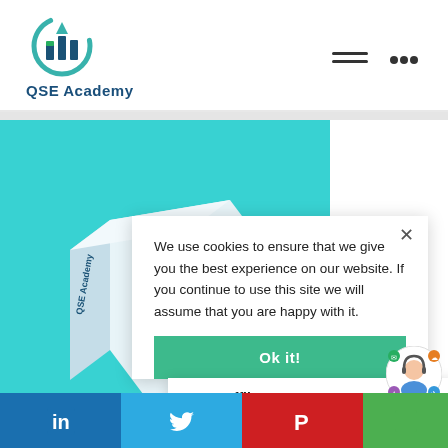[Figure (logo): QSE Academy logo with bar chart icon and circular arrow in teal/green and dark blue]
[Figure (screenshot): QSE Academy product box on teal background]
We use cookies to ensure that we give you the best experience on our website. If you continue to use this site we will assume that you are happy with it.
[Figure (other): Ok button - teal green cookie consent button]
We're offline
Leave a message
[Figure (illustration): Chat support avatar - woman with headset surrounded by social icons]
[Figure (other): Social share bar with LinkedIn, Twitter, Pinterest, and green button]